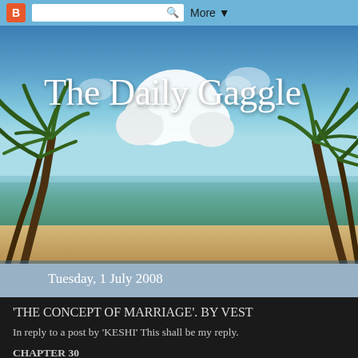B [Blogger logo] [search bar] More ▼
[Figure (photo): Tropical beach scene with palm trees on left and right, turquoise ocean water, white clouds in a blue sky. Used as the blog header banner background.]
The Daily Gaggle
Tuesday, 1 July 2008
'THE CONCEPT OF MARRIAGE'. BY VEST
In reply to a post by 'KESHI' This shall be my reply.
CHAPTER 30
Reminiscing